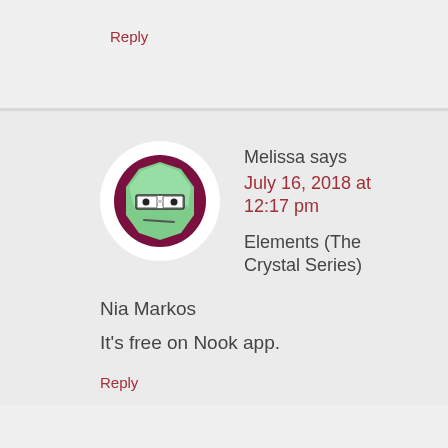Reply
[Figure (illustration): Avatar image: a cartoon green octagon face with glasses and a neutral expression, on a dark magenta background, inside a white circle]
Melissa says
July 16, 2018 at 12:17 pm
Elements (The Crystal Series)
Nia Markos
It's free on Nook app.
Reply